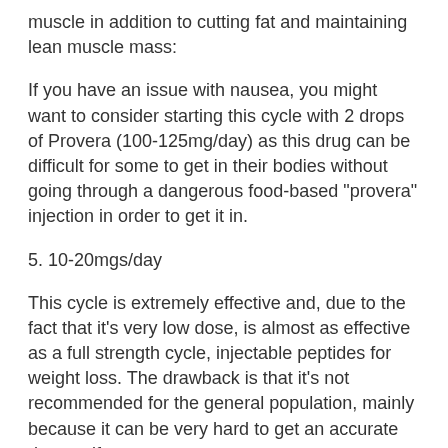muscle in addition to cutting fat and maintaining lean muscle mass:
If you have an issue with nausea, you might want to consider starting this cycle with 2 drops of Provera (100-125mg/day) as this drug can be difficult for some to get in their bodies without going through a dangerous food-based "provera" injection in order to get it in.
5. 10-20mgs/day
This cycle is extremely effective and, due to the fact that it's very low dose, is almost as effective as a full strength cycle, injectable peptides for weight loss. The drawback is that it's not recommended for the general population, mainly because it can be very hard to get an accurate dosage if you are on your